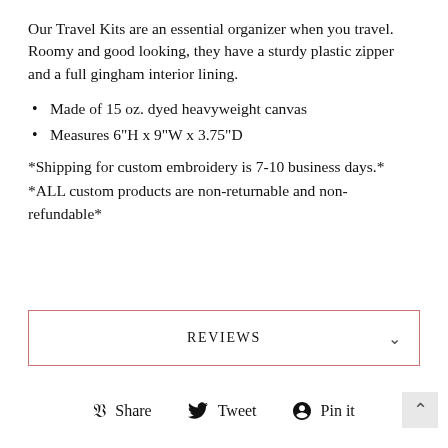Our Travel Kits are an essential organizer when you travel. Roomy and good looking, they have a sturdy plastic zipper and a full gingham interior lining.
Made of 15 oz. dyed heavyweight canvas
Measures 6"H x 9"W x 3.75"D
*Shipping for custom embroidery is 7-10 business days.*
*ALL custom products are non-returnable and non-refundable*
REVIEWS
Share  Tweet  Pin it